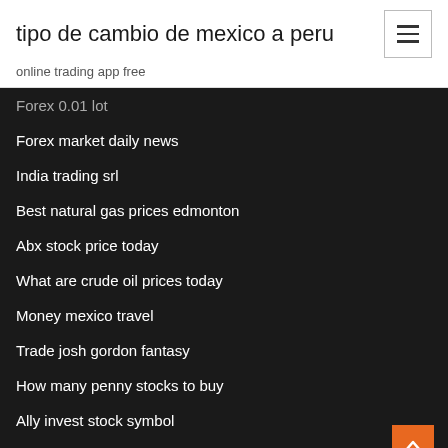tipo de cambio de mexico a peru
online trading app free
Forex 0.01 lot
Forex market daily news
India trading srl
Best natural gas prices edmonton
Abx stock price today
What are crude oil prices today
Money mexico travel
Trade josh gordon fantasy
How many penny stocks to buy
Ally invest stock symbol
Dollar exchange rate...